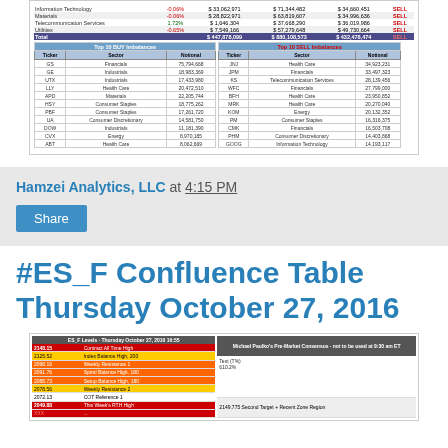[Figure (table-as-image): Top section showing sector data table with Materials, Telecommunication Services, Utilities rows with SELL signals, plus Total row. Below are two side-by-side tables: Top 10 BUY Imbalances and Top 10 SELL Imbalances with Ticker, Sector, Notional columns.]
Hamzei Analytics, LLC at 4:15 PM
Share
#ES_F Confluence Table Thursday October 27, 2016
[Figure (table-as-image): ES_F Confluence Table for Thursday October 27, 2016 showing price levels with labels and Market Consensus commentary on the right side. Rows highlighted in red, yellow, orange colors indicating various price targets and levels.]